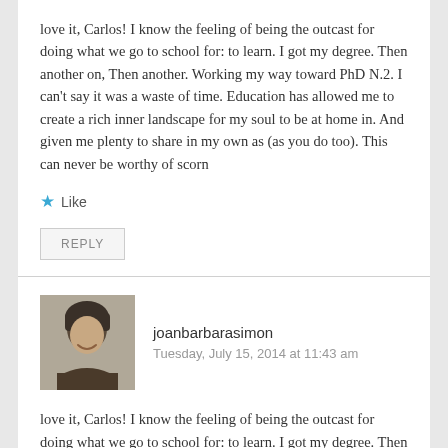love it, Carlos! I know the feeling of being the outcast for doing what we go to school for: to learn. I got my degree. Then another on, Then another. Working my way toward PhD N.2. I can't say it was a waste of time. Education has allowed me to create a rich inner landscape for my soul to be at home in. And given me plenty to share in my own as (as you do too). This can never be worthy of scorn
★ Like
REPLY
joanbarbarasimon
Tuesday, July 15, 2014 at 11:43 am
love it, Carlos! I know the feeling of being the outcast for doing what we go to school for: to learn. I got my degree. Then another on, Then another. Working my way toward PhD N.2. I can't say it was a waste of time. Education has allowed me to